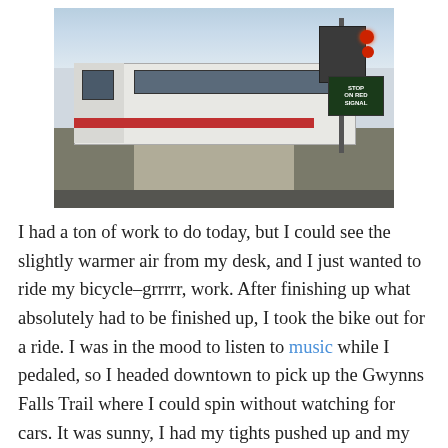[Figure (photo): A light rail train passing through a road crossing, with a stop-on-red-signal sign and crossing signal visible on the right side. The scene is outdoors, slightly overcast sky, with sidewalk and road in the foreground.]
I had a ton of work to do today, but I could see the slightly warmer air from my desk, and I just wanted to ride my bicycle–grrrrr, work. After finishing up what absolutely had to be finished up, I took the bike out for a ride. I was in the mood to listen to music while I pedaled, so I headed downtown to pick up the Gwynns Falls Trail where I could spin without watching for cars. It was sunny, I had my tights pushed up and my skirt waving, and I felt like